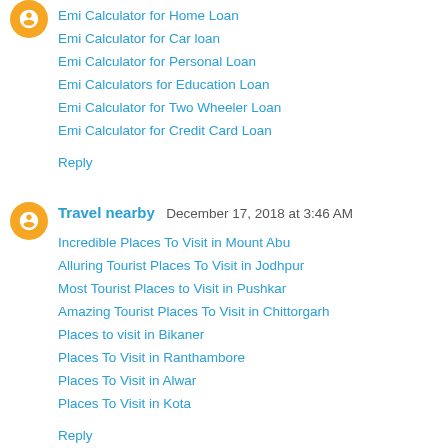[Figure (illustration): Orange circular blogger avatar icon at top left]
Emi Calculator for Home Loan
Emi Calculator for Car loan
Emi Calculator for Personal Loan
Emi Calculators for Education Loan
Emi Calculator for Two Wheeler Loan
Emi Calculator for Credit Card Loan
Reply
[Figure (illustration): Orange circular blogger avatar icon for Travel nearby comment]
Travel nearby  December 17, 2018 at 3:46 AM
Incredible Places To Visit in Mount Abu
Alluring Tourist Places To Visit in Jodhpur
Most Tourist Places to Visit in Pushkar
Amazing Tourist Places To Visit in Chittorgarh
Places to visit in Bikaner
Places To Visit in Ranthambore
Places To Visit in Alwar
Places To Visit in Kota
Reply